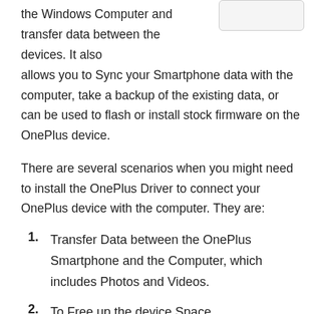the Windows Computer and transfer data between the devices. It also allows you to Sync your Smartphone data with the computer, take a backup of the existing data, or can be used to flash or install stock firmware on the OnePlus device.
[Figure (other): Rounded rectangle placeholder image in upper right corner]
There are several scenarios when you might need to install the OnePlus Driver to connect your OnePlus device with the computer. They are:
Transfer Data between the OnePlus Smartphone and the Computer, which includes Photos and Videos.
To Free up the device Space.
Installing or flashing Stock Firmware on the device